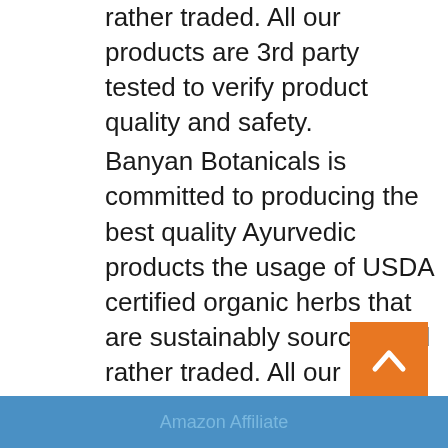rather traded. All our products are 3rd party tested to verify product quality and safety. Banyan Botanicals is committed to producing the best quality Ayurvedic products the usage of USDA certified organic herbs that are sustainably sourced and rather traded. All our products are 3rd party tested to verify product quality and safety.
Amazon Affiliate